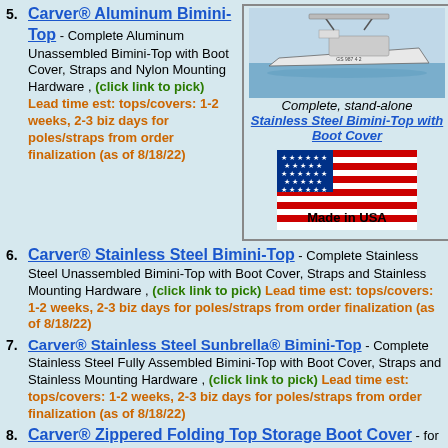5. Carver® Aluminum Bimini-Top - Complete Aluminum Unassembled Bimini-Top with Boot Cover, Straps and Nylon Mounting Hardware , (click link to pick) Lead time est: tops/covers: 1-2 weeks, 2-3 biz days for poles/straps from order finalization (as of 8/18/22)
[Figure (photo): Photo of a boat on water, and a Stainless Steel Bimini-Top with Boot Cover caption below it, plus a Made in USA flag image]
6. Carver® Stainless Steel Bimini-Top - Complete Stainless Steel Unassembled Bimini-Top with Boot Cover, Straps and Stainless Mounting Hardware , (click link to pick) Lead time est: tops/covers: 1-2 weeks, 2-3 biz days for poles/straps from order finalization (as of 8/18/22)
7. Carver® Stainless Steel Sunbrella® Bimini-Top - Complete Stainless Steel Fully Assembled Bimini-Top with Boot Cover, Straps and Stainless Mounting Hardware , (click link to pick) Lead time est: tops/covers: 1-2 weeks, 2-3 biz days for poles/straps from order finalization (as of 8/18/22)
8. Carver® Zippered Folding Top Storage Boot Cover - for Carver® folding Bimini, Sunshade, Camper, Pontoon or Tower Tops when Top is folded and not in use. , (click link to pick size) Lead time est: tops/covers: 1-2 weeks, 2-3 biz days for poles/straps from order finalization (as of 8/18/22)
9. Bimini-Top Extension Kits - Our unique Shade Extension kits attach to the Bimini-Top to extend shade over